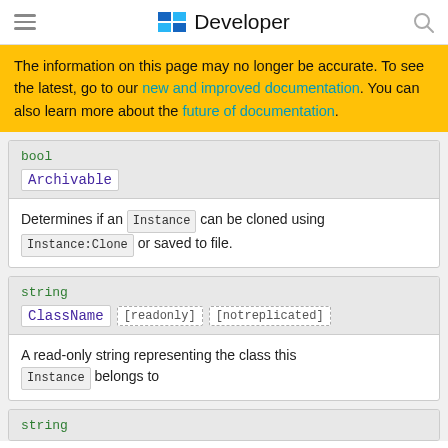Developer
The information on this page may no longer be accurate. To see the latest, go to our new and improved documentation. You can also learn more about the future of documentation.
bool
Archivable
Determines if an Instance can be cloned using Instance:Clone or saved to file.
string
ClassName [readonly] [notreplicated]
A read-only string representing the class this Instance belongs to
string